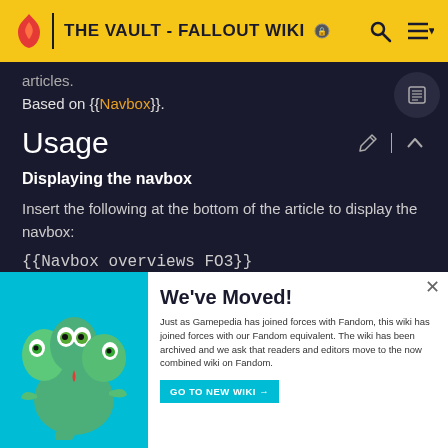THE VAULT - FALLOUT WIKI
articles.
Based on {{Navbox}}.
Usage
Displaying the navbox
Insert the following at the bottom of the article to display the navbox:
{{Navbox overviews FO3}}
Editing the navbox
[Figure (illustration): We've Moved popup banner with teal background showing a cartoon monster character on the left and text on the right: 'We've Moved! Just as Gamepedia has joined forces with Fandom, this wiki has joined forces with our Fandom equivalent. The wiki has been archived and we ask that readers and editors move to the now combined wiki on Fandom.' with a GO TO NEW WIKI button.]